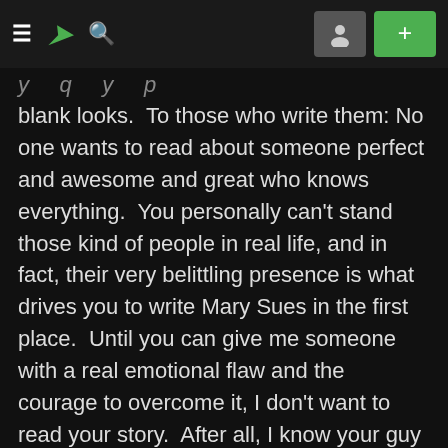≡ ƒ 🔍  [profile] [+]
blank looks.  To those who write them: No one wants to read about someone perfect and awesome and great who knows everything.  You personally can't stand those kind of people in real life, and in fact, their very belittling presence is what drives you to write Mary Sues in the first place.  Until you can give me someone with a real emotional flaw and the courage to overcome it, I don't want to read your story.  After all, I know your guy is going to win and be completely untroubled by it all, right?  So why should I bother?